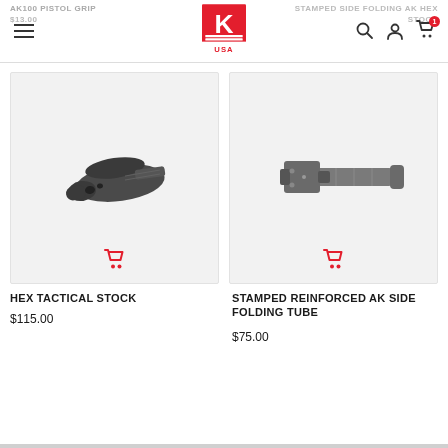K-USA navigation header with logo, hamburger menu, search, account, and cart icons
[Figure (photo): HEX Tactical Stock — black rifle stock with pistol grip contour, shown on light gray background with red cart icon]
HEX TACTICAL STOCK
$115.00
[Figure (photo): Stamped Reinforced AK Side Folding Tube — gray metal tube adapter, shown on light gray background with red cart icon]
STAMPED REINFORCED AK SIDE FOLDING TUBE
$75.00